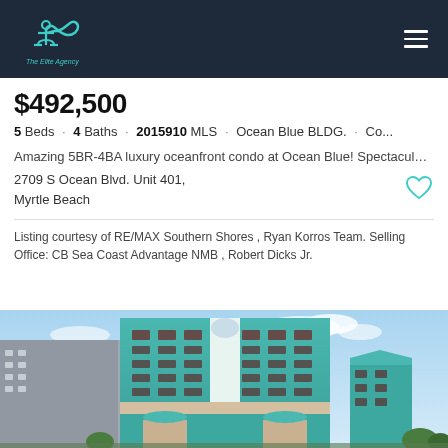The Elite Agency
$492,500
5 Beds · 4 Baths · 2015910 MLS · Ocean Blue BLDG. · Co...
Amazing 5BR-4BA luxury oceanfront condo at Ocean Blue! Spectacular ocea...
2709 S Ocean Blvd. Unit 401, Myrtle Beach
Listing courtesy of RE/MAX Southern Shores , Ryan Korros Team. Selling Office: CB Sea Coast Advantage NMB , Robert Dicks Jr.
[Figure (photo): Exterior photo of Ocean Blue building, a teal/turquoise multi-story oceanfront condo building in Myrtle Beach]